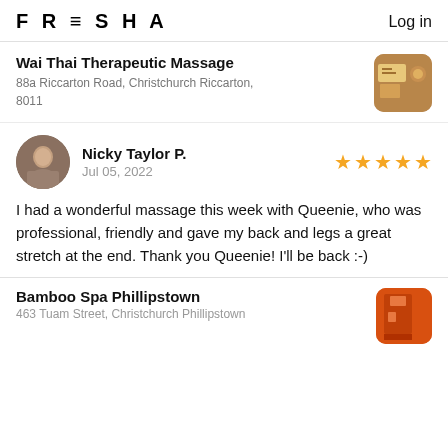FRESHA   Log in
Wai Thai Therapeutic Massage
88a Riccarton Road, Christchurch Riccarton, 8011
Nicky Taylor P.
Jul 05, 2022
[Figure (other): 5 yellow star rating]
I had a wonderful massage this week with Queenie, who was professional, friendly and gave my back and legs a great stretch at the end. Thank you Queenie! I'll be back :-)
Bamboo Spa Phillipstown
463 Tuam Street, Christchurch Phillipstown